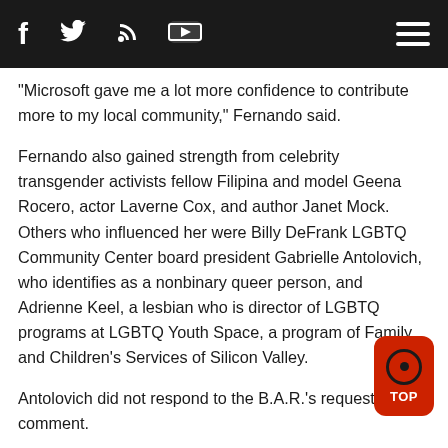[Social media icons: Facebook, Twitter, RSS, YouTube] [Hamburger menu]
"Microsoft gave me a lot more confidence to contribute more to my local community," Fernando said.
Fernando also gained strength from celebrity transgender activists fellow Filipina and model Geena Rocero, actor Laverne Cox, and author Janet Mock. Others who influenced her were Billy DeFrank LGBTQ Community Center board president Gabrielle Antolovich, who identifies as a nonbinary queer person, and Adrienne Keel, a lesbian who is director of LGBTQ programs at LGBTQ Youth Space, a program of Family and Children's Services of Silicon Valley.
Antolovich did not respond to the B.A.R.'s request for comment.
"Sera is a phenomenal community leader because she